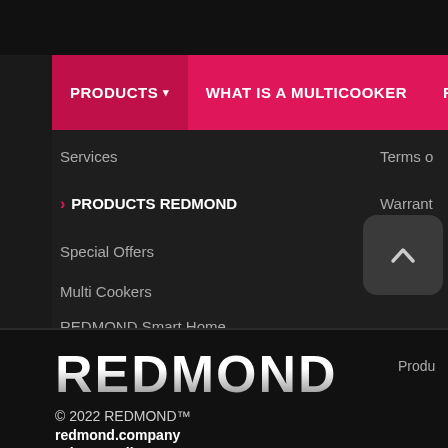PRODUCTS ▾  |  WHAT IS A MULTICOOKER  |  RECIPES
Services
▶ PRODUCTS REDMOND
Special Offers
Multi Cookers
REDMOND Smart Home
Terms o...
Warrant...
[Figure (screenshot): Scroll-to-top button with upward chevron on dark rounded square background]
REDMOND
Produ...
© 2022 REDMOND™
redmond.company
Privacy policy